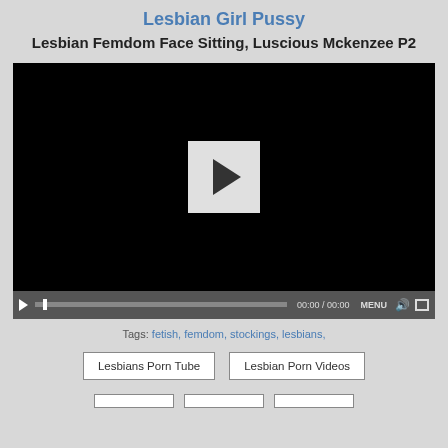Lesbian Girl Pussy
Lesbian Femdom Face Sitting, Luscious Mckenzee P2
[Figure (screenshot): Embedded video player with black screen and white play button in center, with playback controls bar at bottom showing play button, progress bar, 00:00 / 00:00 timestamp, MENU button, volume and fullscreen icons]
Tags: fetish, femdom, stockings, lesbians,
Lesbians Porn Tube
Lesbian Porn Videos